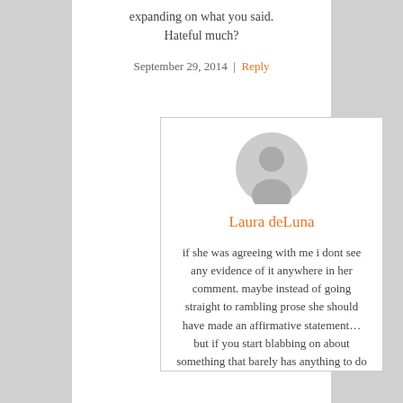expanding on what you said. Hateful much?
September 29, 2014  |  Reply
[Figure (illustration): Generic user avatar (gray silhouette of person in circle)]
Laura deLuna
if she was agreeing with me i dont see any evidence of it anywhere in her comment. maybe instead of going straight to rambling prose she should have made an affirmative statement... but if you start blabbing on about something that barely has anything to do